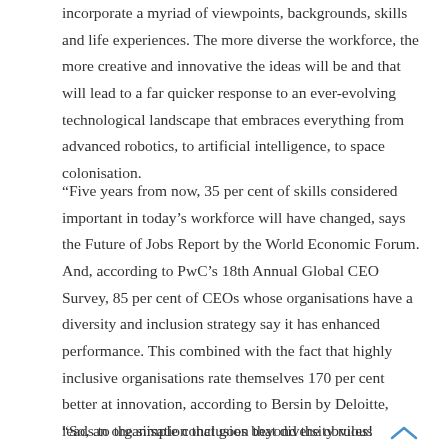incorporate a myriad of viewpoints, backgrounds, skills and life experiences. The more diverse the workforce, the more creative and innovative the ideas will be and that will lead to a far quicker response to an ever-evolving technological landscape that embraces everything from advanced robotics, to artificial intelligence, to space colonisation.
“Five years from now, 35 per cent of skills considered important in today’s workforce will have changed, says the Future of Jobs Report by the World Economic Forum. And, according to PwC’s 18th Annual Global CEO Survey, 85 per cent of CEOs whose organisations have a diversity and inclusion strategy say it has enhanced performance. This combined with the fact that highly inclusive organisations rate themselves 170 per cent better at innovation, according to Bersin by Deloitte, leads to the simple conclusion that diversity rules!
“So, an organisation that goes beyond the obvious sentiment